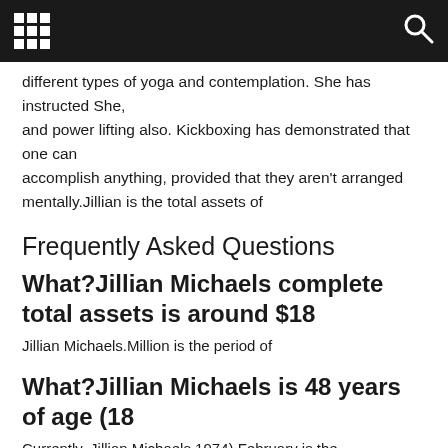[grid icon] [search icon]
different types of yoga and contemplation. She has instructed She, and power lifting also. Kickboxing has demonstrated that one can accomplish anything, provided that they aren't arranged mentally.Jillian is the total assets of
Frequently Asked Questions
What?Jillian Michaels complete total assets is around $18
Jillian Michaels.Million is the period of
What?Jillian Michaels is 48 years of age (18
Currently, Jillian Michaels 1974) February is the